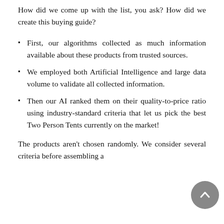How did we come up with the list, you ask? How did we create this buying guide?
First, our algorithms collected as much information available about these products from trusted sources.
We employed both Artificial Intelligence and large data volume to validate all collected information.
Then our AI ranked them on their quality-to-price ratio using industry-standard criteria that let us pick the best Two Person Tents currently on the market!
The products aren't chosen randomly. We consider several criteria before assembling a